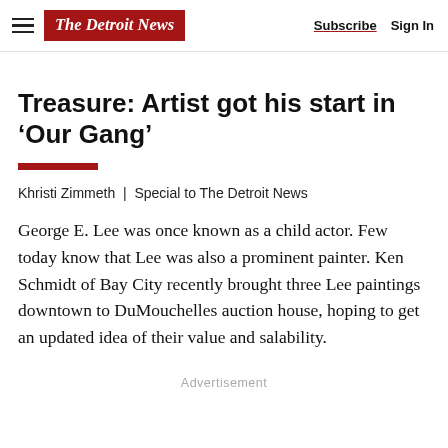The Detroit News | Subscribe | Sign In
Treasure: Artist got his start in ‘Our Gang’
Khristi Zimmeth | Special to The Detroit News
George E. Lee was once known as a child actor. Few today know that Lee was also a prominent painter. Ken Schmidt of Bay City recently brought three Lee paintings downtown to DuMouchelles auction house, hoping to get an updated idea of their value and salability.
Advertisement